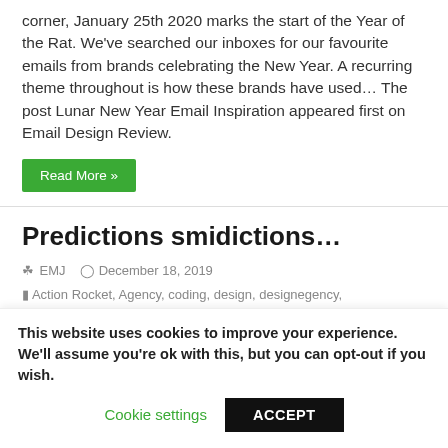corner, January 25th 2020 marks the start of the Year of the Rat. We've searched our inboxes for our favourite emails from brands celebrating the New Year. A recurring theme throughout is how these brands have used… The post Lunar New Year Email Inspiration appeared first on Email Design Review.
Read More »
Predictions smidictions…
EMJ  December 18, 2019  Action Rocket, Agency, coding, design, designegency, email, Email Design Best Practice, EmailDesign, EmailDesignReview, emailpredictions, Emailstrategy, strategy  0
[Figure (photo): Black horizontal image bar]
This website uses cookies to improve your experience. We'll assume you're ok with this, but you can opt-out if you wish.
Cookie settings   ACCEPT